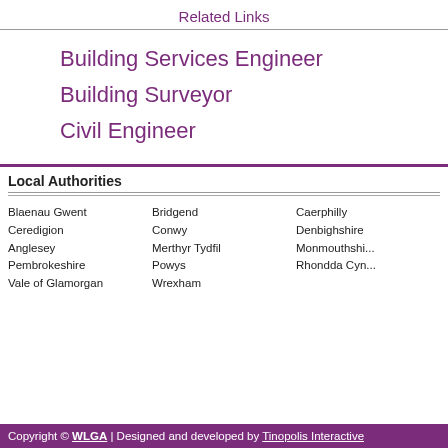Related Links
Building Services Engineer
Building Surveyor
Civil Engineer
Local Authorities
| Blaenau Gwent | Bridgend | Caerphilly |
| Ceredigion | Conwy | Denbighshire |
| Anglesey | Merthyr Tydfil | Monmouthshire |
| Pembrokeshire | Powys | Rhondda Cyn... |
| Vale of Glamorgan | Wrexham |  |
Copyright © WLGA | Designed and developed by Tinopolis Interactive